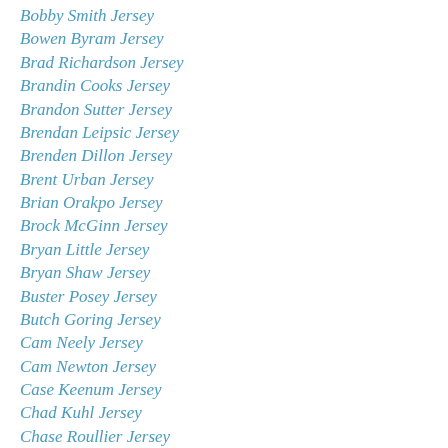Bobby Smith Jersey
Bowen Byram Jersey
Brad Richardson Jersey
Brandin Cooks Jersey
Brandon Sutter Jersey
Brendan Leipsic Jersey
Brenden Dillon Jersey
Brent Urban Jersey
Brian Orakpo Jersey
Brock McGinn Jersey
Bryan Little Jersey
Bryan Shaw Jersey
Buster Posey Jersey
Butch Goring Jersey
Cam Neely Jersey
Cam Newton Jersey
Case Keenum Jersey
Chad Kuhl Jersey
Chase Roullier Jersey